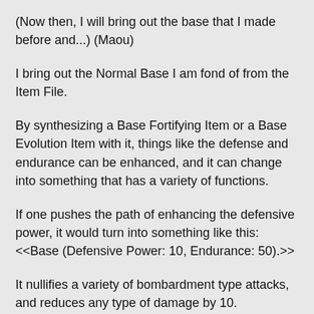(Now then, I will bring out the base that I made before and...) (Maou)
I bring out the Normal Base I am fond of from the Item File.
By synthesizing a Base Fortifying Item or a Base Evolution Item with it, things like the defense and endurance can be enhanced, and it can change into something that has a variety of functions.
If one pushes the path of enhancing the defensive power, it would turn into something like this: <<Base (Defensive Power: 10, Endurance: 50).>>
It nullifies a variety of bombardment type attacks, and reduces any type of damage by 10.